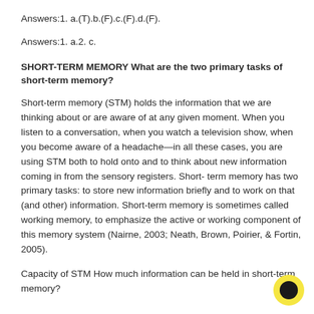Answers:1. a.(T).b.(F).c.(F).d.(F).
Answers:1. a.2. c.
SHORT-TERM MEMORY What are the two primary tasks of short-term memory?
Short-term memory (STM) holds the information that we are thinking about or are aware of at any given moment. When you listen to a conversation, when you watch a television show, when you become aware of a headache—in all these cases, you are using STM both to hold onto and to think about new information coming in from the sensory registers. Short- term memory has two primary tasks: to store new information briefly and to work on that (and other) information. Short-term memory is sometimes called working memory, to emphasize the active or working component of this memory system (Nairne, 2003; Neath, Brown, Poirier, & Fortin, 2005).
Capacity of STM How much information can be held in short-term memory?